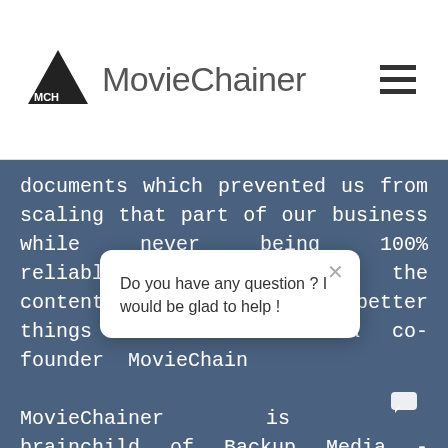MovieChainer
documents which prevented us from scaling that part of our business while never being 100% reliable... we thought the content industry had better things to focus on" - Jean... co-founder... MovieChain...
Do you have any question ? I would be glad to help !
MovieChainer is the brainchild of Backup Media - active since 2002 in film&TV